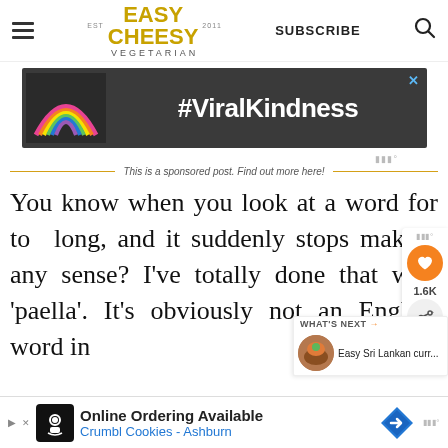Easy Cheesy Vegetarian — SUBSCRIBE
[Figure (screenshot): #ViralKindness advertisement banner with rainbow chalk art on dark background]
This is a sponsored post. Find out more here!
You know when you look at a word for too long, and it suddenly stops making any sense? I've totally done that with 'paella'. It's obviously not an English word in...
[Figure (screenshot): Online Ordering Available — Crumbl Cookies - Ashburn bottom advertisement bar]